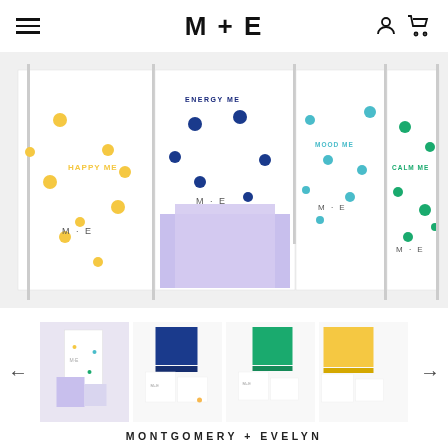M + E
[Figure (photo): Product display showing M+E brand boxes arranged as panels: HAPPY ME (yellow dots), ENERGY ME (dark blue dots), MOOD ME (light blue dots), CALM ME (green dots), with M+E logos on boxes and a lavender/purple decorative element in center]
[Figure (photo): Thumbnail 1: M+E product set with lavender box open showing contents]
[Figure (photo): Thumbnail 2: M+E navy blue box open with white accessory boxes]
[Figure (photo): Thumbnail 3: M+E green box open with white accessory boxes]
[Figure (photo): Thumbnail 4: M+E yellow box open with white accessory boxes (partially cropped)]
MONTGOMERY + EVELYN